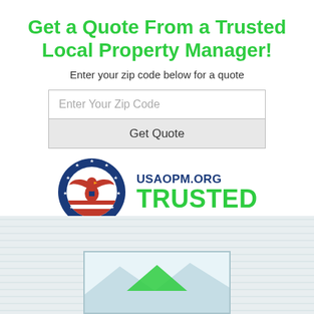Get a Quote From a Trusted Local Property Manager!
Enter your zip code below for a quote
[Figure (logo): USAOPM.ORG TRUSTED badge with eagle seal logo in blue circle with stars and red/white stripes]
[Figure (illustration): Partial house illustration with green roof peak visible inside a bordered card at bottom of page]